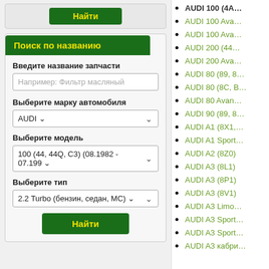Найти (top button)
Поиск по названию
Введите название запчасти
Например: Фильтр масляный
Выберите марку автомобиля
AUDI
Выберите модель
100 (44, 44Q, C3) (08.1982 - 07.199…
Выберите тип
2.2 Turbo (бензин, седан, МС)
Найти
AUDI 100 (4А…
AUDI 100 Ava…
AUDI 100 Ava…
AUDI 200 (44…
AUDI 200 Ava…
AUDI 80 (89, 8…
AUDI 80 (8C, B…
AUDI 80 Avan…
AUDI 90 (89, 8…
AUDI A1 (8X1,…
AUDI A1 Sport…
AUDI A2 (8Z0)
AUDI A3 (8L1)
AUDI A3 (8P1)
AUDI A3 (8V1)
AUDI A3 Limo…
AUDI A3 Sport…
AUDI A3 Sport…
AUDI A3 кабри…